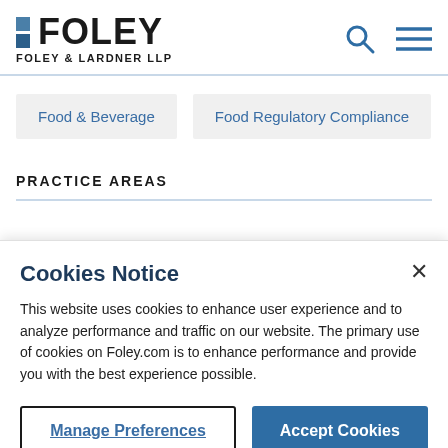FOLEY — FOLEY & LARDNER LLP
Food & Beverage
Food Regulatory Compliance
PRACTICE AREAS
Cookies Notice
This website uses cookies to enhance user experience and to analyze performance and traffic on our website. The primary use of cookies on Foley.com is to enhance performance and provide you with the best experience possible.
Manage Preferences | Accept Cookies